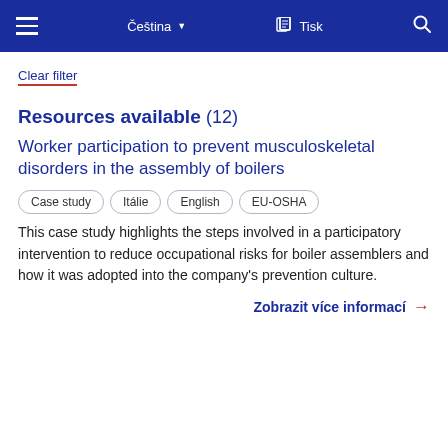Čeština | Tisk
Clear filter
Resources available (12)
Worker participation to prevent musculoskeletal disorders in the assembly of boilers
Case study
Itálie
English
EU-OSHA
This case study highlights the steps involved in a participatory intervention to reduce occupational risks for boiler assemblers and how it was adopted into the company's prevention culture.
Zobrazit více informací →